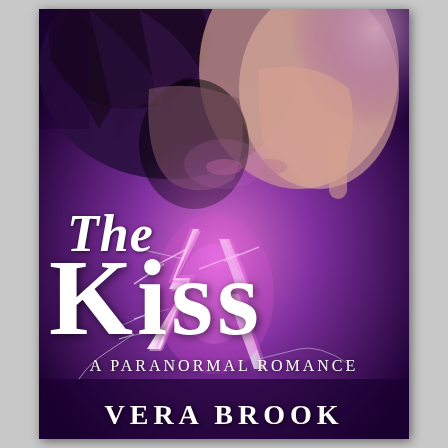[Figure (illustration): Book cover for 'The Kiss: A Paranormal Romance' by Vera Brook. Dark purple/magenta background showing two people about to kiss in the upper portion. Lightning bolt effects in the center. White serif text overlaid with the title and author name.]
The Kiss
A Paranormal Romance
Vera Brook